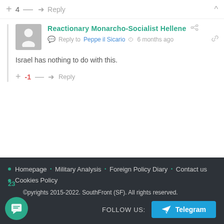+ 4 — → Reply
Reactionary Monarcho-Socialist Hellene
Reply to Peppe il Sicario  6 months ago
Israel has nothing to do with this.
+ -1 — → Reply
Homepage · Military Analysis · Foreign Policy Diary · Contact us · Cookies Policy
© Copyrights 2015-2022. SouthFront (SF). All rights reserved.
FOLLOW US: Telegram